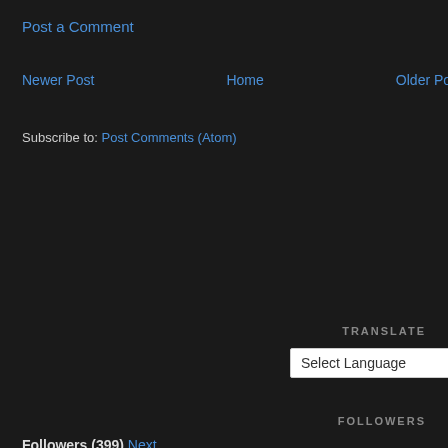Post a Comment
Newer Post   Home   Older Post
Subscribe to: Post Comments (Atom)
TRANSLATE
[Figure (screenshot): Select Language dropdown widget with chevron, labeled POWERED BY Google]
FOLLOWERS
Followers (399) Next
[Figure (illustration): Generic user avatar icon, blue background, white silhouette]
[Figure (illustration): Generic user avatar icon, blue background, white silhouette]